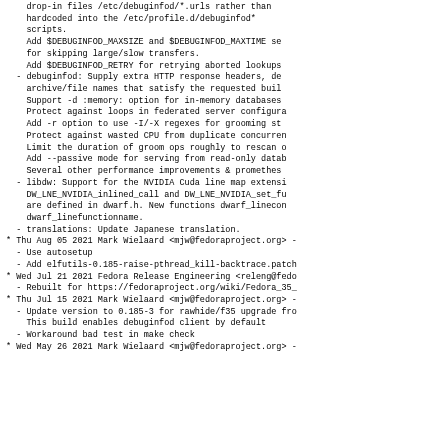drop-in files /etc/debuginfod/*.urls rather than
    hardcoded into the /etc/profile.d/debuginfod*
    scripts.
    Add $DEBUGINFOD_MAXSIZE and $DEBUGINFOD_MAXTIME se
    for skipping large/slow transfers.
    Add $DEBUGINFOD_RETRY for retrying aborted lookups
- debuginfod: Supply extra HTTP response headers, de
    archive/file names that satisfy the requested buil
    Support -d :memory: option for in-memory databases
    Protect against loops in federated server configura
    Add -r option to use -I/-X regexes for grooming st
    Protect against wasted CPU from duplicate concurren
    Limit the duration of groom ops roughly to rescan o
    Add --passive mode for serving from read-only datab
    Several other performance improvements & prometeus
- libdw: Support for the NVIDIA Cuda line map extensi
    DW_LNE_NVIDIA_inlined_call and DW_LNE_NVIDIA_set_fu
    are defined in dwarf.h. New functions dwarf_linecon
    dwarf_linefunctionname.
- translations: Update Japanese translation.
* Thu Aug 05 2021 Mark Wielaard <mjw@fedoraproject.org> -
  - Use autosetup
  - Add elfutils-0.185-raise-pthread_kill-backtrace.patch
* Wed Jul 21 2021 Fedora Release Engineering <releng@fedo
  - Rebuilt for https://fedoraproject.org/wiki/Fedora_35_
* Thu Jul 15 2021 Mark Wielaard <mjw@fedoraproject.org> -
  - Update version to 0.185-3 for rawhide/f35 upgrade fro
    This build enables debuginfod client by default
  - Workaround bad test in make check
* Wed May 26 2021 Mark Wielaard <mjw@fedoraproject.org> -
  - ...